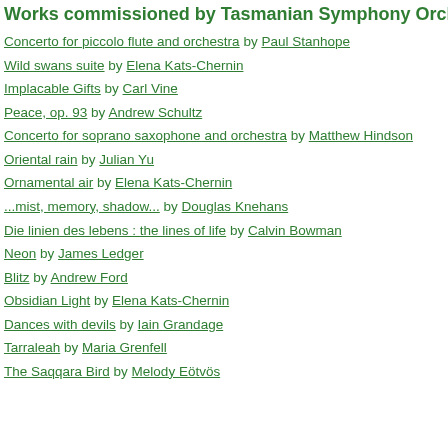Works commissioned by Tasmanian Symphony Orchestra
Concerto for piccolo flute and orchestra by Paul Stanhope
Wild swans suite by Elena Kats-Chernin
Implacable Gifts by Carl Vine
Peace, op. 93 by Andrew Schultz
Concerto for soprano saxophone and orchestra by Matthew Hindson
Oriental rain by Julian Yu
Ornamental air by Elena Kats-Chernin
...mist, memory, shadow... by Douglas Knehans
Die linien des lebens : the lines of life by Calvin Bowman
Neon by James Ledger
Blitz by Andrew Ford
Obsidian Light by Elena Kats-Chernin
Dances with devils by Iain Grandage
Tarraleah by Maria Grenfell
The Saqqara Bird by Melody Eötvös